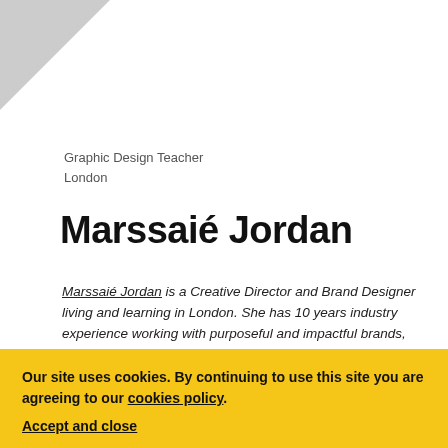[Figure (illustration): Gray folded corner triangle in top-left of page]
Graphic Design Teacher
London
Marssaié Jordan
Marssaié Jordan is a Creative Director and Brand Designer living and learning in London. She has 10 years industry experience working with purposeful and impactful brands, dedicated to telling compelling stories that resonate with contemporary audiences.
Throughout her career she has elevated design thinking
Our site uses cookies. By continuing to use this site you are agreeing to our cookies policy.
Accept and close